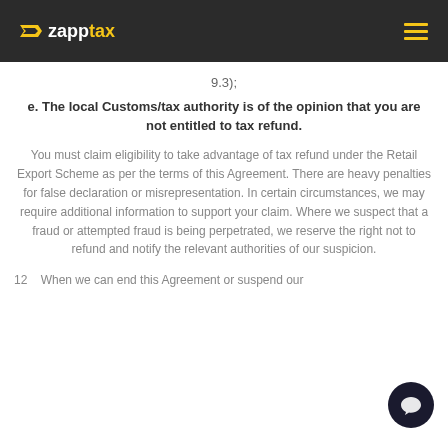zapptax
9.3);
e. The local Customs/tax authority is of the opinion that you are not entitled to tax refund.
You must claim eligibility to take advantage of tax refund under the Retail Export Scheme as per the terms of this Agreement. There are heavy penalties for false declaration or misrepresentation. In certain circumstances, we may require additional information to support your claim. Where we suspect that a fraud or attempted fraud is being perpetrated, we reserve the right not to refund and notify the relevant authorities of our suspicion.
12    When we can end this Agreement or suspend our